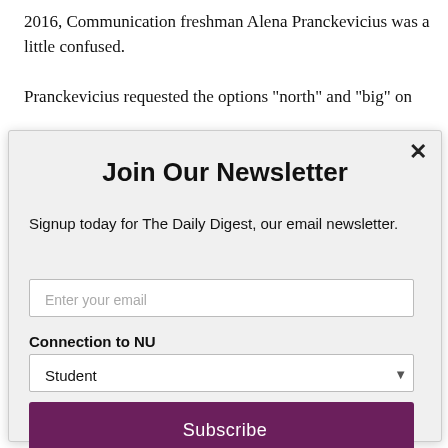2016, Communication freshman Alena Pranckevicius was a little confused.
Pranckevicius requested the options “north” and “big” on
[Figure (screenshot): Newsletter signup modal dialog with title 'Join Our Newsletter', description 'Signup today for The Daily Digest, our email newsletter.', email input field, Connection to NU dropdown showing 'Student', Subscribe button in dark purple, and 'powered by MailMunch' footer.]